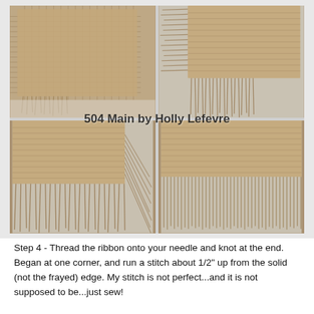[Figure (photo): Four-panel photo collage showing burlap fabric at various stages of fraying. Top-left: a square piece of burlap with slightly frayed bottom edge. Top-right: burlap corner with many frayed threads pulled out. Bottom-left: burlap corner with long fringe threads hanging down. Bottom-right: burlap corner with a neat row of fringe threads. Watermark text '504 Main by Holly Lefevre' overlaid in the center.]
Step 4 - Thread the ribbon onto your needle and knot at the end. Began at one corner, and run a stitch about 1/2" up from the solid (not the frayed) edge. My stitch is not perfect...and it is not supposed to be...just sew!